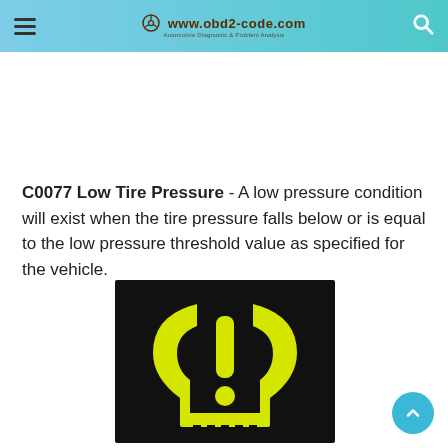www.obd2-code.com — Automotive Diagnostic & Problem Analysis
C0077 Low Tire Pressure - A low pressure condition will exist when the tire pressure falls below or is equal to the low pressure threshold value as specified for the vehicle.
[Figure (photo): TPMS (Tire Pressure Monitoring System) warning light icon — yellow exclamation mark inside a tire cross-section symbol on a black background]